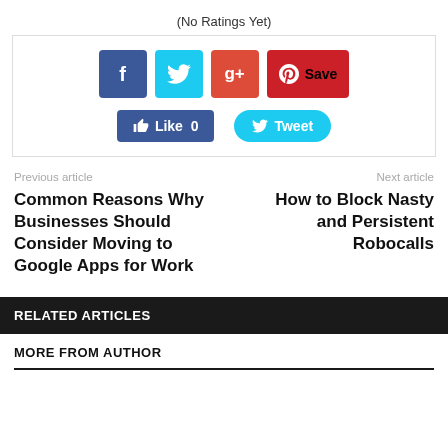(No Ratings Yet)
[Figure (screenshot): Social share buttons: Facebook, Twitter, Google+, Pinterest Save, Like 0, Tweet]
Previous article
Next article
Common Reasons Why Businesses Should Consider Moving to Google Apps for Work
How to Block Nasty and Persistent Robocalls
RELATED ARTICLES
MORE FROM AUTHOR